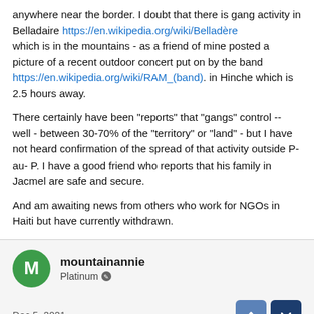anywhere near the border. I doubt that there is gang activity in Belladaire https://en.wikipedia.org/wiki/Belladère which is in the mountains - as a friend of mine posted a picture of a recent outdoor concert put on by the band https://en.wikipedia.org/wiki/RAM_(band). in Hinche which is 2.5 hours away.
There certainly have been "reports" that "gangs" control -- well - between 30-70% of the "territory" or "land" - but I have not heard confirmation of the spread of that activity outside P-au- P. I have a good friend who reports that his family in Jacmel are safe and secure.
And am awaiting news from others who work for NGOs in Haiti but have currently withdrawn.
mountainannie
Platinum
Dec 5, 2021